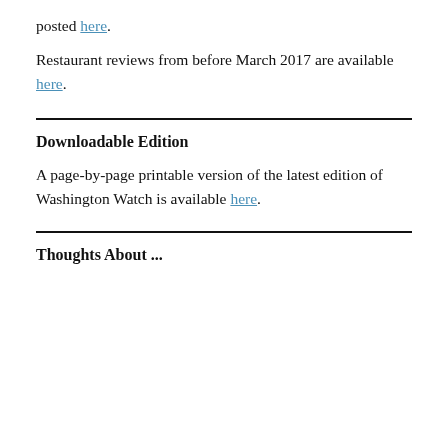posted here.
Restaurant reviews from before March 2017 are available here.
Downloadable Edition
A page-by-page printable version of the latest edition of Washington Watch is available here.
Thoughts About ...